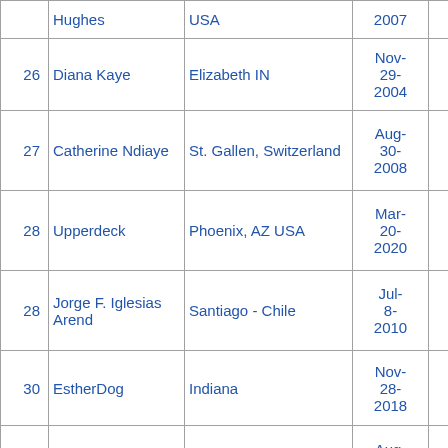| # | Name | Location | Date | Col5 | Col6 |
| --- | --- | --- | --- | --- | --- |
|  | Hughes | USA | 2007 |  |  |
| 26 | Diana Kaye | Elizabeth IN | Nov-29-2004 | 55 | 33 |
| 27 | Catherine Ndiaye | St. Gallen, Switzerland | Aug-30-2008 | 57 | 34 |
| 28 | Upperdeck | Phoenix, AZ USA | Mar-20-2020 | 50 | 104 |
| 28 | Jorge F. Iglesias Arend | Santiago - Chile | Jul-8-2010 | 51 | 24 |
| 30 | EstherDog | Indiana | Nov-28-2018 | 53 | 30 |
| 30 | Long Gone Lover | Montreal, QC, Canada | Aug-22- | 52 | 22 |